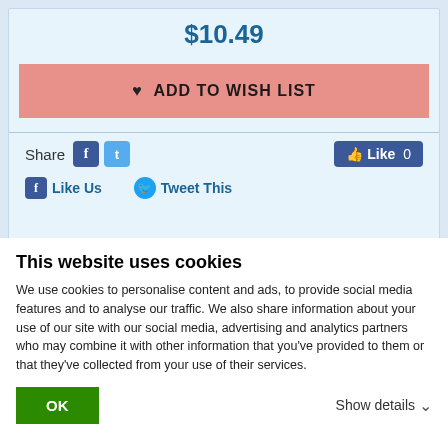$10.49
♥ ADD TO WISH LIST
Share  Like 0
Like Us  Tweet This
ℹ INFORMATION
This website uses cookies
We use cookies to personalise content and ads, to provide social media features and to analyse our traffic. We also share information about your use of our site with our social media, advertising and analytics partners who may combine it with other information that you've provided to them or that they've collected from your use of their services.
OK
Show details